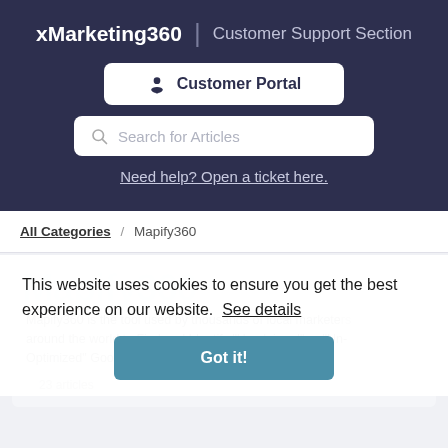xMarketing360 | Customer Support Section
Customer Portal
Search for Articles
Need help? Open a ticket here.
All Categories / Mapify360
Mapify360
Mapify360 is the tool used by thousands of local marketers around the world to Find and Identify "Un-claimed" or "Un-Optimized" Google My Business Local Leads.
23 articles
This website uses cookies to ensure you get the best experience on our website. See details
Got it!